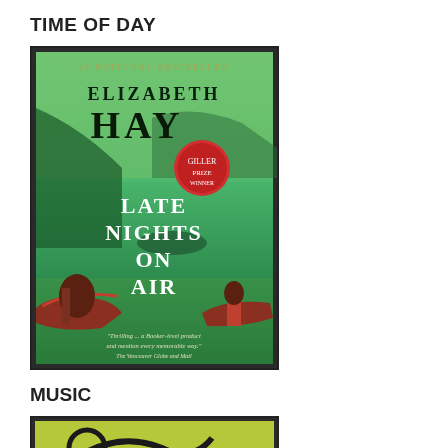TIME OF DAY
[Figure (photo): Book cover of 'Late Nights on Air' by Elizabeth Hay. Green background with canoes, water, and landscape. '#1 National Bestseller' text at top, red Giller Prize winner seal, and white title text in large letters.]
MUSIC
[Figure (photo): Partial view of an album or music-related image with yellow-green background and dark curved line/graphic element.]